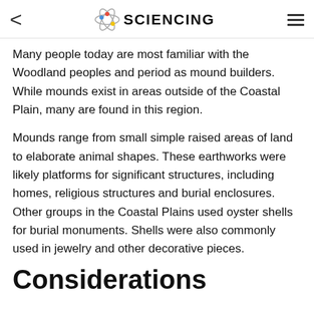< ⚛ SCIENCING ≡
Many people today are most familiar with the Woodland peoples and period as mound builders. While mounds exist in areas outside of the Coastal Plain, many are found in this region.
Mounds range from small simple raised areas of land to elaborate animal shapes. These earthworks were likely platforms for significant structures, including homes, religious structures and burial enclosures. Other groups in the Coastal Plains used oyster shells for burial monuments. Shells were also commonly used in jewelry and other decorative pieces.
Considerations